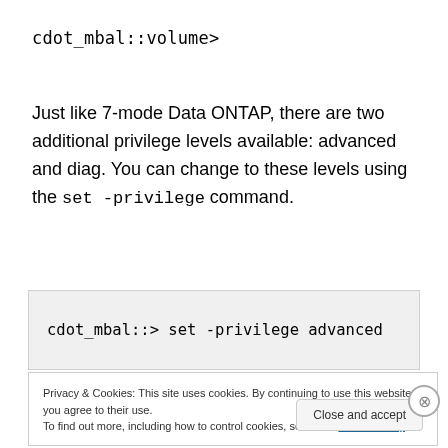cdot_mbal::volume>
Just like 7-mode Data ONTAP, there are two additional privilege levels available: advanced and diag. You can change to these levels using the set -privilege command.
cdot_mbal::> set -privilege advanced
Privacy & Cookies: This site uses cookies. By continuing to use this website, you agree to their use.
To find out more, including how to control cookies, see here: Cookie Policy
Close and accept